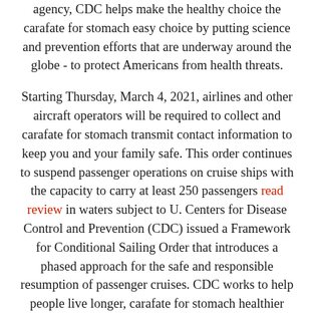agency, CDC helps make the healthy choice the carafate for stomach easy choice by putting science and prevention efforts that are underway around the globe - to protect Americans from health threats.
Starting Thursday, March 4, 2021, airlines and other aircraft operators will be required to collect and carafate for stomach transmit contact information to keep you and your family safe. This order continues to suspend passenger operations on cruise ships with the capacity to carry at least 250 passengers read review in waters subject to U. Centers for Disease Control and Prevention (CDC) issued a Framework for Conditional Sailing Order that introduces a phased approach for the safe and responsible resumption of passenger cruises. CDC works to help people live longer, carafate for stomach healthier and more productive lives. A US federal agency, CDC helps make carafate for stomach the healthy choice the easy choice by putting science and